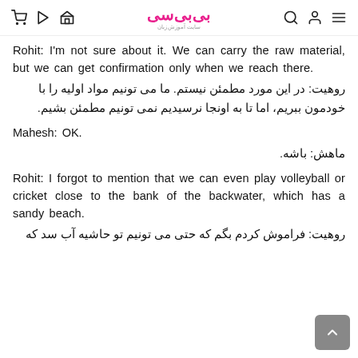بی‌بی‌سی (logo) — navigation icons
Rohit: I'm not sure about it. We can carry the raw material, but we can get confirmation only when we reach there.
روهیت: در این مورد مطمئن نیستم. ما می تونیم مواد اولیه را با خودمون ببریم، اما تا به اونجا نرسیدیم نمی تونیم مطمئن بشیم.
Mahesh: OK.
ماهش: باشه.
Rohit: I forgot to mention that we can even play volleyball or cricket close to the bank of the backwater, which has a sandy beach.
روهیت: فراموش کردم بگم که حتی می تونیم تو حاشیه آب سد که ساحل شنی داره والیبال یا کریکت بازی کنیم.